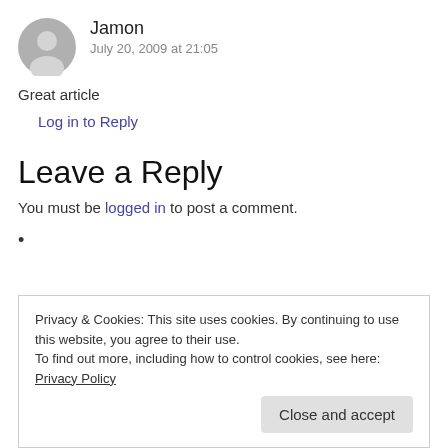Jamon
July 20, 2009 at 21:05
Great article
Log in to Reply
Leave a Reply
You must be logged in to post a comment.
Privacy & Cookies: This site uses cookies. By continuing to use this website, you agree to their use.
To find out more, including how to control cookies, see here: Privacy Policy
Close and accept